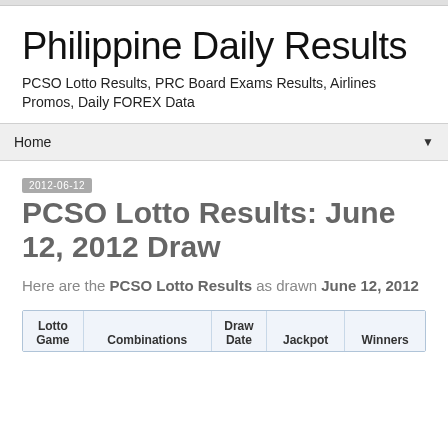Philippine Daily Results
PCSO Lotto Results, PRC Board Exams Results, Airlines Promos, Daily FOREX Data
Home ▼
2012-06-12
PCSO Lotto Results: June 12, 2012 Draw
Here are the PCSO Lotto Results as drawn June 12, 2012
| Lotto Game | Combinations | Draw Date | Jackpot | Winners |
| --- | --- | --- | --- | --- |